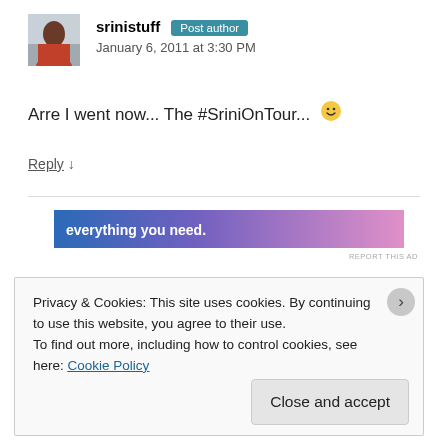[Figure (photo): Avatar photo of user srinistuff - person in red shirt outdoors]
srinistuff Post author
January 6, 2011 at 3:30 PM
Arre I went now... The #SriniOnTour... 🙂
Reply ↓
[Figure (screenshot): Ad banner with gradient from blue/purple to pink, text: everything you need.]
REPORT THIS AD
Privacy & Cookies: This site uses cookies. By continuing to use this website, you agree to their use.
To find out more, including how to control cookies, see here: Cookie Policy
Close and accept